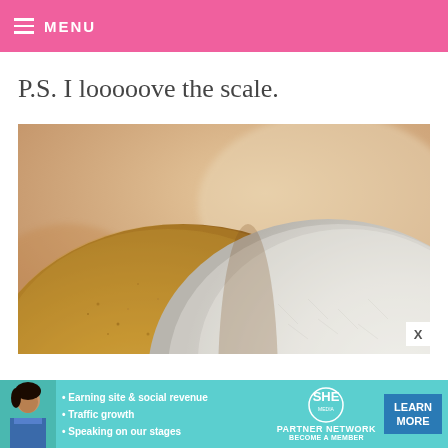MENU
P.S. I looooove the scale.
[Figure (photo): Close-up macro photo of two mounds of powder side by side — golden/tan powder (likely almond flour or brown sugar) on the left and white powder (likely all-purpose flour) on the right, photographed against a warm blurred background.]
• Earning site & social revenue
• Traffic growth
• Speaking on our stages
SHE PARTNER NETWORK
BECOME A MEMBER
LEARN MORE